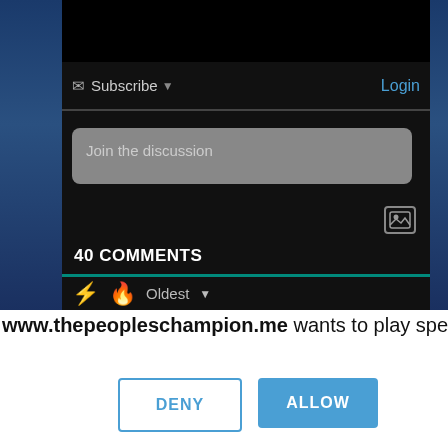[Figure (screenshot): Screenshot of a comments section on a dark-themed website. Shows Subscribe and Login buttons at top, a 'Join the discussion' input box, an image upload icon, '40 COMMENTS' heading, a teal underline, and sort icons (lightning bolt, fire, Oldest dropdown).]
www.thepeopleschampion.me wants to play speech
DENY
ALLOW